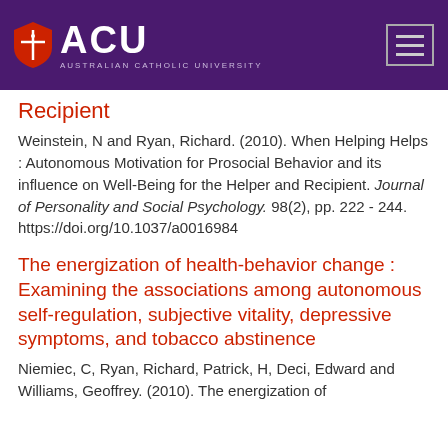[Figure (logo): ACU Australian Catholic University logo with purple header bar and hamburger menu button]
Recipient
Weinstein, N and Ryan, Richard. (2010). When Helping Helps : Autonomous Motivation for Prosocial Behavior and its influence on Well-Being for the Helper and Recipient. Journal of Personality and Social Psychology. 98(2), pp. 222 - 244. https://doi.org/10.1037/a0016984
The energization of health-behavior change : Examining the associations among autonomous self-regulation, subjective vitality, depressive symptoms, and tobacco abstinence
Niemiec, C, Ryan, Richard, Patrick, H, Deci, Edward and Williams, Geoffrey. (2010). The energization of